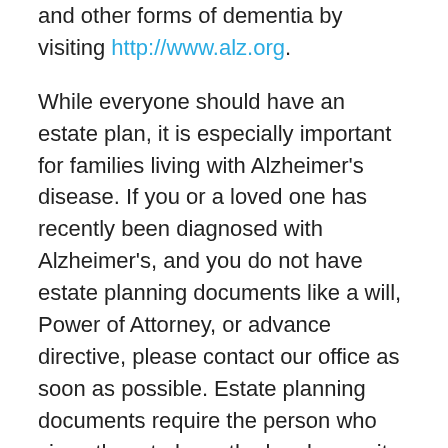and other forms of dementia by visiting http://www.alz.org.
While everyone should have an estate plan, it is especially important for families living with Alzheimer's disease. If you or a loved one has recently been diagnosed with Alzheimer's, and you do not have estate planning documents like a will, Power of Attorney, or advance directive, please contact our office as soon as possible. Estate planning documents require the person who signs them to have the legal capacity to understand the documents' consequences. In most cases, someone who has just received a diagnosis of Alzheimer's can understand the meaning and importance of a given document and therefore has the legal capacity to sign it. However, the ability to understand the implications of legal documents may decline as the disease progresses.